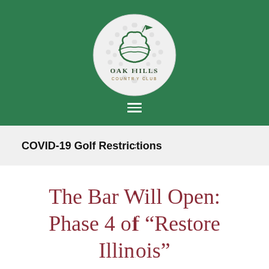[Figure (logo): Oak Hills Country Club logo: a golf ball with an oak leaf and flag design, text reads OAK HILLS COUNTRY CLUB]
COVID-19 Golf Restrictions
The Bar Will Open: Phase 4 of “Restore Illinois”